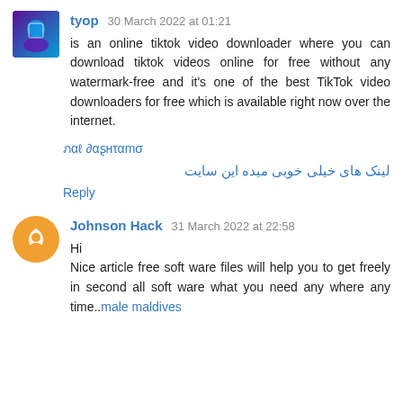tyop 30 March 2022 at 01:21
is an online tiktok video downloader where you can download tiktok videos online for free without any watermark-free and it's one of the best TikTok video downloaders for free which is available right now over the internet.
لینک های خیلی خوبی میده این سایت
Reply
Johnson Hack 31 March 2022 at 22:58
Hi
Nice article free soft ware files will help you to get freely in second all soft ware what you need any where any time..male maldives